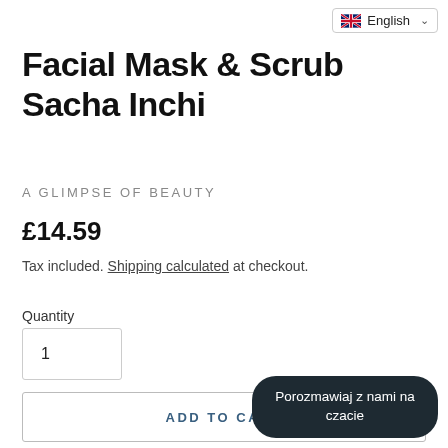English
Facial Mask & Scrub Sacha Inchi
A GLIMPSE OF BEAUTY
£14.59
Tax included. Shipping calculated at checkout.
Quantity
1
ADD TO CART
Porozmawiaj z nami na czacie